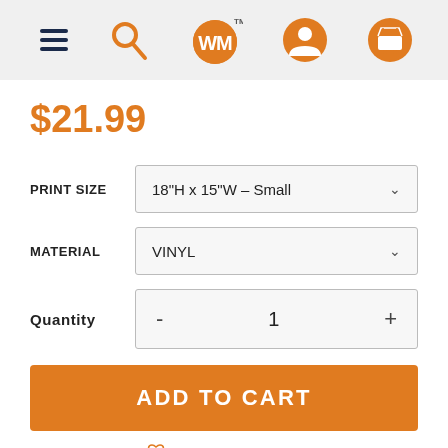[Figure (screenshot): E-commerce website navigation header with hamburger menu, search icon, logo (WM in orange circle with TM), user account icon, and shopping cart icon on a light grey background.]
$21.99
PRINT SIZE: 18"H x 15"W - Small
MATERIAL: VINYL
Quantity: - 1 +
ADD TO CART
ADD TO WISHLIST